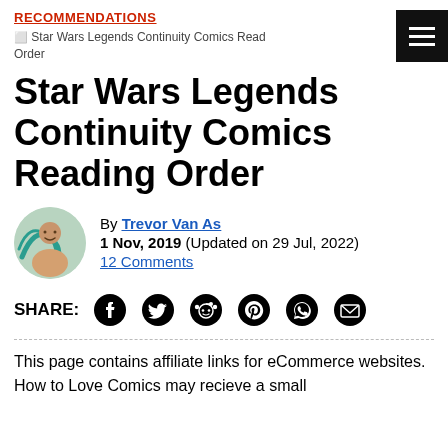RECOMMENDATIONS
Star Wars Legends Continuity Comics Read Order
Star Wars Legends Continuity Comics Reading Order
By Trevor Van As
1 Nov, 2019 (Updated on 29 Jul, 2022)
12 Comments
SHARE:
This page contains affiliate links for eCommerce websites. How to Love Comics may recieve a small